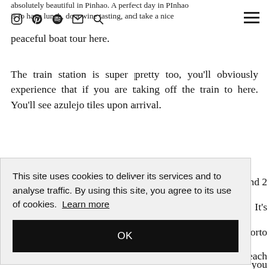absolutely beautiful in Pinhao. A perfect day in PInhao is to have lunch, do a wine tasting, and take a nice peaceful boat tour here.
The train station is super pretty too, you'll obviously experience that if you are taking off the train to here. You'll see azulejo tiles upon arrival.
This site uses cookies to deliver its services and to analyse traffic. By using this site, you agree to its use of cookies. Learn more
OK
nd 2 It's Porto each you